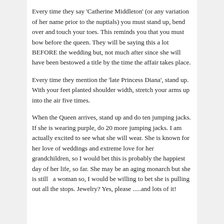Every time they say 'Catherine Middleton' (or any variation of her name prior to the nuptials) you must stand up, bend over and touch your toes. This reminds you that you must bow before the queen. They will be saying this a lot BEFORE the wedding but, not much after since she will have been bestowed a title by the time the affair takes place.
Every time they mention the 'late Princess Diana', stand up. With your feet planted shoulder width, stretch your arms up into the air five times.
When the Queen arrives, stand up and do ten jumping jacks. If she is wearing purple, do 20 more jumping jacks. I am actually excited to see what she will wear. She is known for her love of weddings and extreme love for her grandchildren, so I would bet this is probably the happiest day of her life, so far. She may be an aging monarch but she is still  a woman so, I would be willing to bet she is pulling out all the stops. Jewelry? Yes, please .....and lots of it!